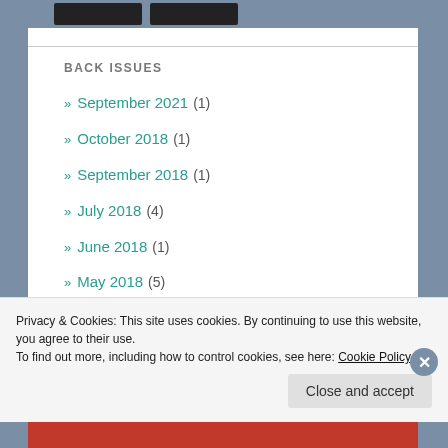BACK ISSUES
» September 2021 (1)
» October 2018 (1)
» September 2018 (1)
» July 2018 (4)
» June 2018 (1)
» May 2018 (5)
» April 2018 (1)
Privacy & Cookies: This site uses cookies. By continuing to use this website, you agree to their use.
To find out more, including how to control cookies, see here: Cookie Policy